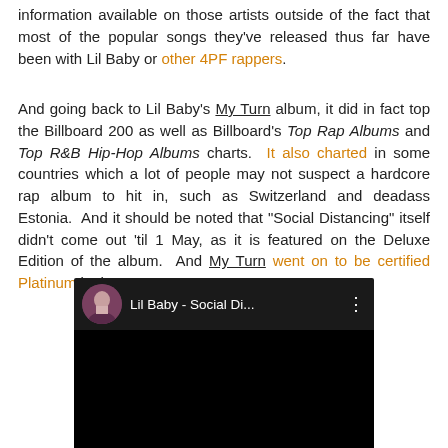information available on those artists outside of the fact that most of the popular songs they've released thus far have been with Lil Baby or other 4PF rappers.
And going back to Lil Baby's My Turn album, it did in fact top the Billboard 200 as well as Billboard's Top Rap Albums and Top R&B Hip-Hop Albums charts. It also charted in some countries which a lot of people may not suspect a hardcore rap album to hit in, such as Switzerland and deadass Estonia. And it should be noted that "Social Distancing" itself didn't come out 'til 1 May, as it is featured on the Deluxe Edition of the album. And My Turn went on to be certified Platinum in the US on 15 May 2020.
[Figure (screenshot): YouTube video thumbnail showing Lil Baby - Social Di... with artist avatar and black video area]